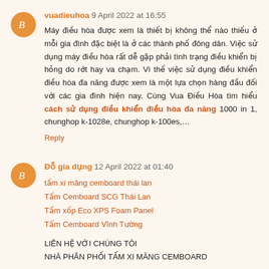vuadieuhoa 9 April 2022 at 16:55
Máy điều hòa được xem là thiết bị không thể nào thiếu ở mỗi gia đình đặc biệt là ở các thành phố đông dân. Việc sử dụng máy điều hòa rất dễ gặp phải tình trạng điều khiển bị hỏng do rớt hay va chạm. Vì thế việc sử dụng điều khiển điều hòa đa năng được xem là một lựa chọn hàng đầu đối với các gia đình hiện nay. Cùng Vua Điều Hòa tìm hiểu cách sử dụng điều khiển điều hòa đa năng 1000 in 1, chunghop k-1028e, chunghop k-100es,…
Reply
Đỗ gia dụng 12 April 2022 at 01:40
tấm xi măng cemboard thái lan
Tấm Cemboard SCG Thái Lan
Tấm xốp Eco XPS Foam Panel
Tấm Cemboard Vĩnh Tường
LIÊN HỆ VỚI CHÚNG TÔI
NHÀ PHÂN PHỐI TẤM XI MĂNG CEMBOARD